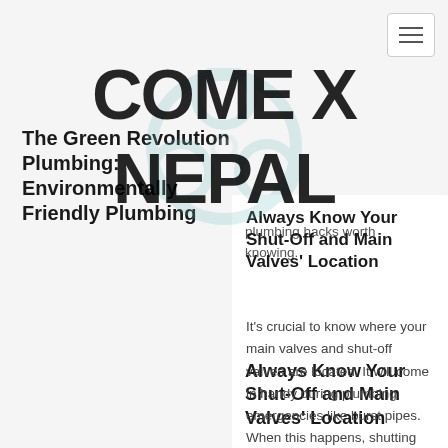[Figure (logo): COME X NEPAL watermark with biohazard symbol in teal, overlaid on the page content]
The Green Revolution Plumbing: Environmentally Friendly Plumbing
plumbing hacks worth knowing.
Always Know Your Shut-Off and Main Valves' Location
It's crucial to know where your main valves and shut-off valves are located. It will come in handy during plumbing emergencies like burst pipes. When this happens, shutting off your